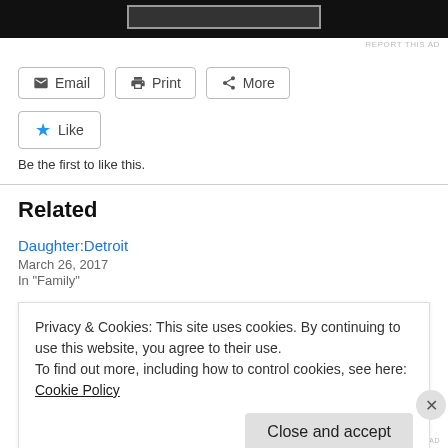[Figure (other): Black advertisement banner at top with gray rectangle placeholder]
REPORT THIS AD
Email
Print
More
Like
Be the first to like this.
Related
Daughter:Detroit
March 26, 2017
In "Family"
Privacy & Cookies: This site uses cookies. By continuing to use this website, you agree to their use.
To find out more, including how to control cookies, see here: Cookie Policy
Close and accept